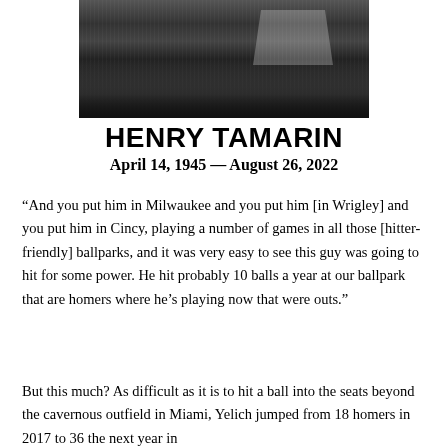[Figure (photo): Black and white photograph of protesters holding signs including 'UNITE HERE Local 1' and 'Strike HERE!' signs]
HENRY TAMARIN
April 14, 1945 — August 26, 2022
“And you put him in Milwaukee and you put him [in Wrigley] and you put him in Cincy, playing a number of games in all those [hitter-friendly] ballparks, and it was very easy to see this guy was going to hit for some power. He hit probably 10 balls a year at our ballpark that are homers where he’s playing now that were outs.”
But this much? As difficult as it is to hit a ball into the seats beyond the cavernous outfield in Miami, Yelich jumped from 18 homers in 2017 to 36 the next year in